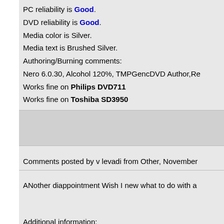PC reliability is Good.
DVD reliability is Good.
Media color is Silver.
Media text is Brushed Silver.
Authoring/Burning comments:
Nero 6.0.30, Alcohol 120%, TMPGencDVD Author, Re
Works fine on Philips DVD711
Works fine on Toshiba SD3950
Comments posted by v levadi from Other, November
ANother diappointment Wish I new what to do with a
Additional information:
Purchased from: CompUSA
Burnt with LG GSA-4040B at 4x using firmware 301.
Burning reliability is Poor.
PC reliability is Good.